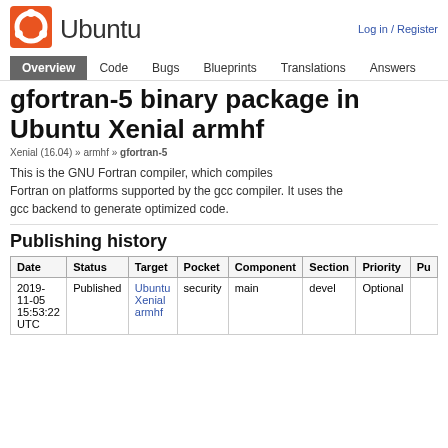[Figure (logo): Ubuntu orange circle logo with white circle-and-dot pattern]
Ubuntu
Log in / Register
Overview  Code  Bugs  Blueprints  Translations  Answers
gfortran-5 binary package in Ubuntu Xenial armhf
Xenial (16.04) » armhf » gfortran-5
This is the GNU Fortran compiler, which compiles Fortran on platforms supported by the gcc compiler. It uses the gcc backend to generate optimized code.
Publishing history
| Date | Status | Target | Pocket | Component | Section | Priority | Pu |
| --- | --- | --- | --- | --- | --- | --- | --- |
| 2019-11-05 15:53:22 UTC | Published | Ubuntu Xenial armhf | security | main | devel | Optional |  |